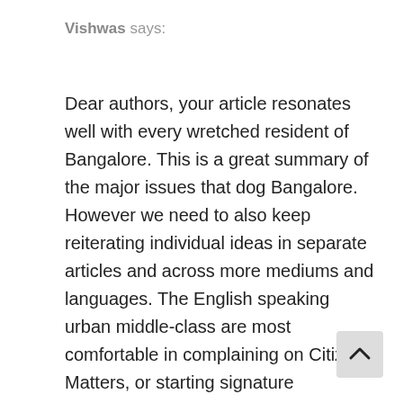Vishwas says:
Dear authors, your article resonates well with every wretched resident of Bangalore. This is a great summary of the major issues that dog Bangalore. However we need to also keep reiterating individual ideas in separate articles and across more mediums and languages. The English speaking urban middle-class are most comfortable in complaining on Citizen Matters, or starting signature campaigns or making groups to share frothing lake videos on Facebook, but we are clueless about how to take it the next step. Please help in this regard. Pick a topic and hammer away. For example Garbage – there is nothing to waste in garbage when we segregate – it is full of recyclable materials, energy and manure.Waste segregation is practiced actively the larger apartments in the Sarjapur road/Bellandur